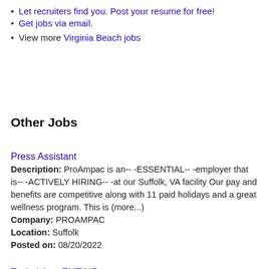Let recruiters find you. Post your resume for free!
Get jobs via email.
View more Virginia Beach jobs
Other Jobs
Press Assistant
Description: ProAmpac is an-- -ESSENTIAL-- -employer that is-- -ACTIVELY HIRING-- -at our Suffolk, VA facility Our pay and benefits are competitive along with 11 paid holidays and a great wellness program. This is (more...) Company: PROAMPAC Location: Suffolk Posted on: 08/20/2022
Technician, EMT/HR
Description: Hiring Company: br br Boar's Head Provisions Co.,